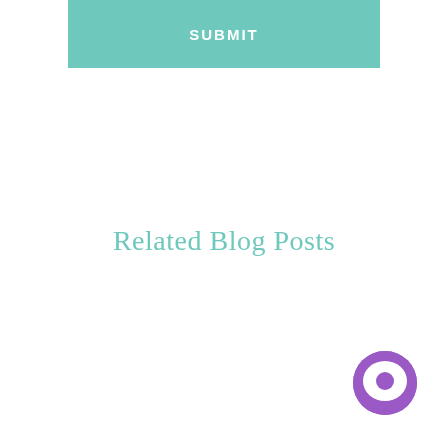SUBMIT
Related Blog Posts
[Figure (illustration): Purple chat bubble icon in bottom-right corner]